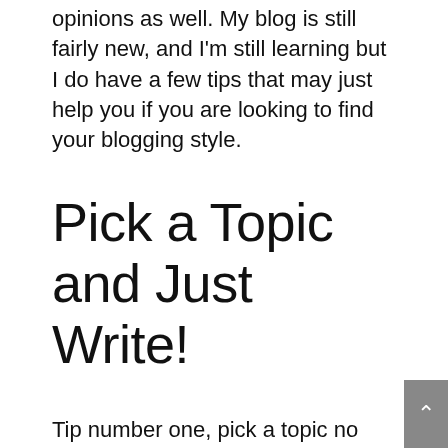opinions as well. My blog is still fairly new, and I'm still learning but I do have a few tips that may just help you if you are looking to find your blogging style.
Pick a Topic and Just Write!
Tip number one, pick a topic no matter how random it may be and write whatever comes to your mind. Think of it as creative writing or freewriting, a little brainstorming if you will. Don't think about any specific guidelines or rules, and just write what comes naturally to you. Picking a topic to write freely about will allow you to express yourself without limitations. It can be something you post or it can be for your eyes only. This will give you the opportunity to find